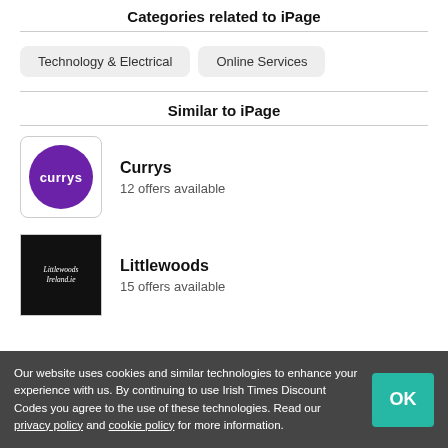Categories related to iPage
Technology & Electrical
Online Services
Similar to iPage
[Figure (logo): Currys logo: white text 'currys' on purple circle]
Currys
12 offers available
[Figure (logo): Littlewoods Ireland.ie logo: white italic text on black background]
Littlewoods
15 offers available
Our website uses cookies and similar technologies to enhance your experience with us. By continuing to use Irish Times Discount Codes you agree to the use of these technologies. Read our privacy policy and cookie policy for more information.